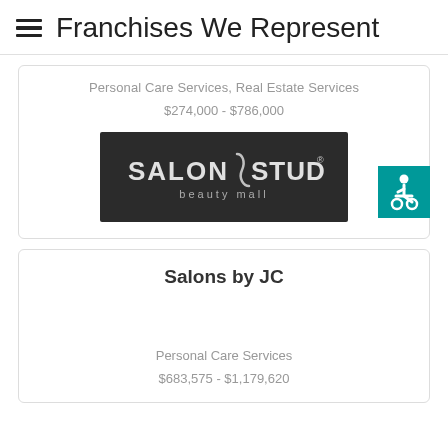Franchises We Represent
Personal Care Services, Real Estate Services
$274,000 - $786,000
[Figure (logo): Salon Studios beauty mall logo — white text on dark background]
[Figure (illustration): Accessibility icon — white wheelchair user on teal background]
Salons by JC
Personal Care Services
$683,575 - $1,179,620